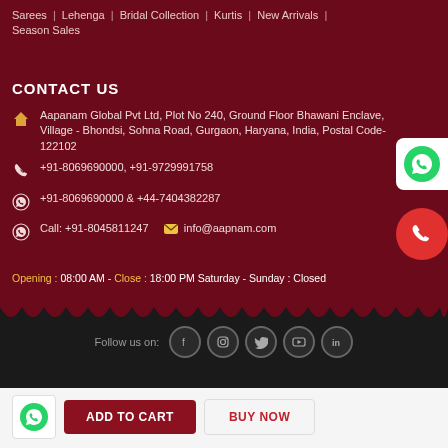Sarees | Lehenga | Bridal Collection | Kurtis | New Arrivals | Season Sales
CONTACT US
Aapanam Global Pvt Ltd, Plot No 240, Ground Floor Bhawani Enclave, Village - Bhondsi, Sohna Road, Gurgaon, Haryana, India, Postal Code- 122102
+91-8069690000, +91-9729991758
+91-8069690000 & +44-7404382287
Call: +91-8045811247   info@aapnam.com
Opening : 08:00 AM - Close : 18:00 PM Saturday - Sunday : Closed
Follow us on:
ADD TO CART   BUY NOW